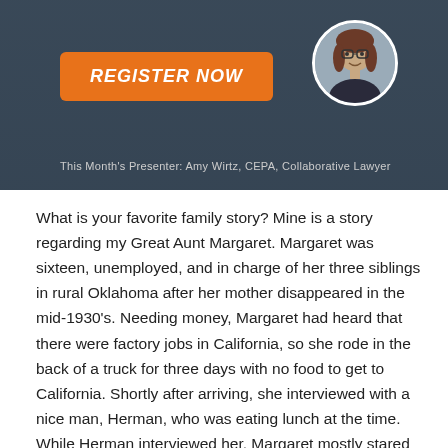[Figure (infographic): Banner with dark blue-grey background, orange 'REGISTER NOW' button, circular headshot of a woman with glasses and brown hair, and text 'This Month's Presenter: Amy Wirtz, CEPA, Collaborative Lawyer']
What is your favorite family story? Mine is a story regarding my Great Aunt Margaret. Margaret was sixteen, unemployed, and in charge of her three siblings in rural Oklahoma after her mother disappeared in the mid-1930's. Needing money, Margaret had heard that there were factory jobs in California, so she rode in the back of a truck for three days with no food to get to California. Shortly after arriving, she interviewed with a nice man, Herman, who was eating lunch at the time. While Herman interviewed her, Margaret mostly stared at… Read More